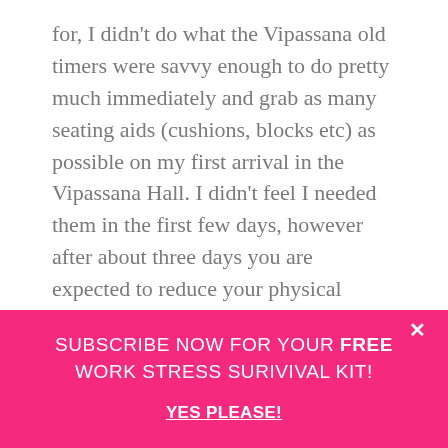for, I didn't do what the Vipassana old timers were savvy enough to do pretty much immediately and grab as many seating aids (cushions, blocks etc) as possible on my first arrival in the Vipassana Hall. I didn't feel I needed them in the first few days, however after about three days you are expected to reduce your physical movements during the mediations to as little as possible, if at all. This I found ridiculously difficult (lets just say I am no natural yogi) and the first day of endeavouring to follow this practice was so
SUBSCRIBE NOW FOR YOUR FREE WORK STRESS SURIVIVAL KIT!
YES PLEASE!